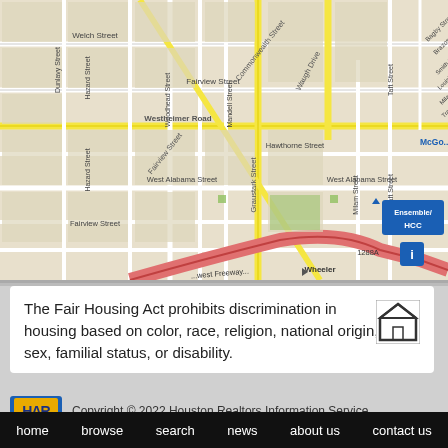[Figure (map): Street map of Houston, TX area showing Westheimer Road, West Alabama Street, Fairview Street, Welch Street, Hawthorne Street, Commonwealth Drive, Waugh Drive, Woodhead Street, Graustark Street, Mandell Street, Hazard Street, Milam Street, Taft Street, Bagby Street, Brazos Street, Smith Street, Louisiana Street, Travis Street, Fannin Street, San Jacinto Street, with Ensemble/HCC metro station marker and 1288/Wheeler intersection, showing Loop 610 highway in pink/red]
The Fair Housing Act prohibits discrimination in housing based on color, race, religion, national origin, sex, familial status, or disability.
Copyright © 2022 Houston Realtors Information Service
home   browse   search   news   about us   contact us